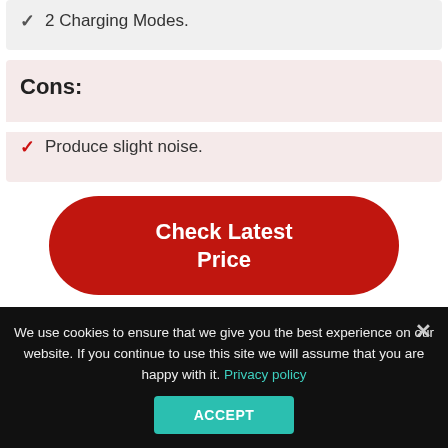2 Charging Modes.
Cons:
Produce slight noise.
Check Latest Price
We use cookies to ensure that we give you the best experience on our website. If you continue to use this site we will assume that you are happy with it. Privacy policy
ACCEPT